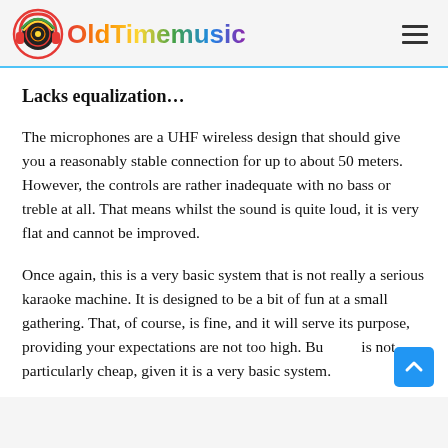OldTimemusic
Lacks equalization…
The microphones are a UHF wireless design that should give you a reasonably stable connection for up to about 50 meters. However, the controls are rather inadequate with no bass or treble at all. That means whilst the sound is quite loud, it is very flat and cannot be improved.
Once again, this is a very basic system that is not really a serious karaoke machine. It is designed to be a bit of fun at a small gathering. That, of course, is fine, and it will serve its purpose, providing your expectations are not too high. But is not particularly cheap, given it is a very basic system.